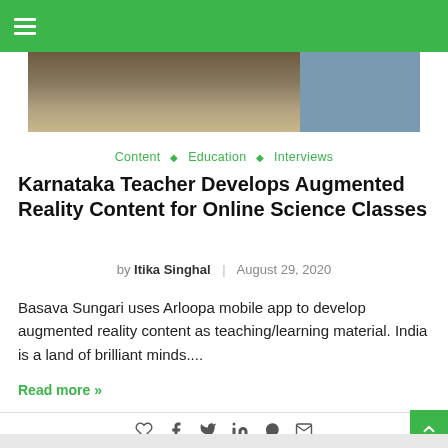≡ (hamburger menu)
[Figure (photo): Partial view of a person at a desk, teaching or working, with a brown background and blue/teal garment visible on the right]
Content ◇ Education ◇ Interviews
Karnataka Teacher Develops Augmented Reality Content for Online Science Classes
by Itika Singhal | August 29, 2020
Basava Sungari uses Arloopa mobile app to develop augmented reality content as teaching/learning material. India is a land of brilliant minds....
Read more »
♡  f  🐦  in  © ✉